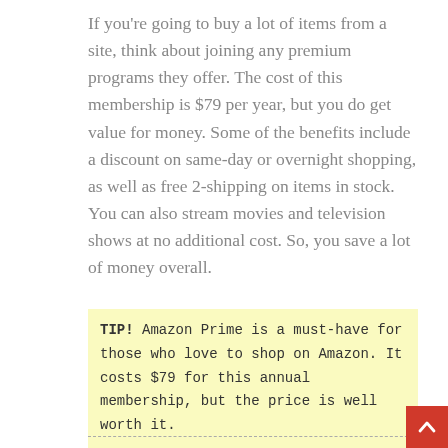If you're going to buy a lot of items from a site, think about joining any premium programs they offer. The cost of this membership is $79 per year, but you do get value for money. Some of the benefits include a discount on same-day or overnight shopping, as well as free 2-shipping on items in stock. You can also stream movies and television shows at no additional cost. So, you save a lot of money overall.
TIP! Amazon Prime is a must-have for those who love to shop on Amazon. It costs $79 for this annual membership, but the price is well worth it.